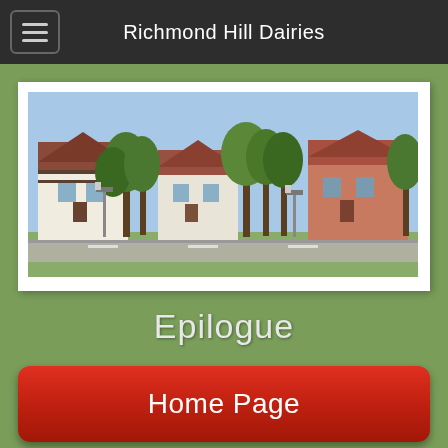Richmond Hill Dairies
[Figure (photo): Panoramic street scene showing suburban houses, trees, and road in daylight]
Epilogue
Home Page
Personal Memories of Richmond Hill Dairies